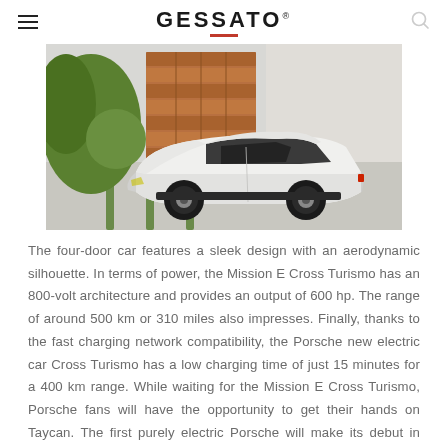GESSATO
[Figure (photo): White Porsche Mission E Cross Turismo concept car parked in front of a modern house with wooden garage door and greenery]
The four-door car features a sleek design with an aerodynamic silhouette. In terms of power, the Mission E Cross Turismo has an 800-volt architecture and provides an output of 600 hp. The range of around 500 km or 310 miles also impresses. Finally, thanks to the fast charging network compatibility, the Porsche new electric car Cross Turismo has a low charging time of just 15 minutes for a 400 km range. While waiting for the Mission E Cross Turismo, Porsche fans will have the opportunity to get their hands on Taycan. The first purely electric Porsche will make its debut in 2019. And the company doesn't stop there. Porsche plans to